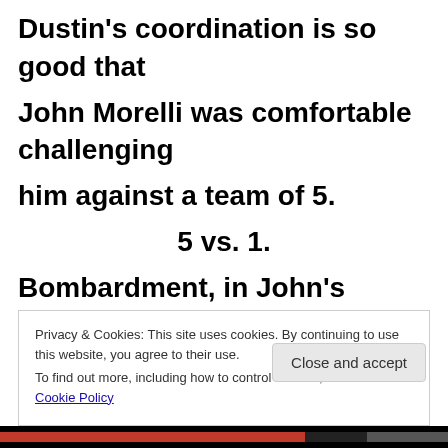Dustin's coordination is so good that John Morelli was comfortable challenging him against a team of 5.
5 vs. 1.
Bombardment, in John's opinion, is a good measuring tool and Dustin was one
Privacy & Cookies: This site uses cookies. By continuing to use this website, you agree to their use.
To find out more, including how to control cookies, see here: Cookie Policy